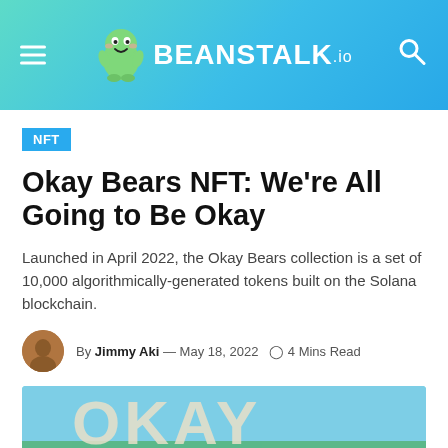BEANSTALK.io
NFT
Okay Bears NFT: We're All Going to Be Okay
Launched in April 2022, the Okay Bears collection is a set of 10,000 algorithmically-generated tokens built on the Solana blockchain.
By Jimmy Aki — May 18, 2022   4 Mins Read
[Figure (illustration): Okay Bears banner image showing stylized text OKAY in large letters on a colorful background]